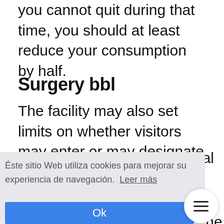you cannot quit during that time, you should at least reduce your consumption by half.
Surgery bbl
The facility may also set limits on whether visitors may enter or may designate a waiting area away from the operating room. Social distancing will be practiced in waiting areas.
Éste sitio Web utiliza cookies para mejorar su experiencia de navegación. Leer más
Ok
procedure. The recommendations will be based